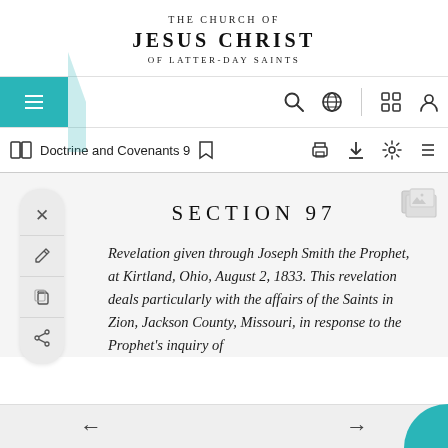THE CHURCH OF JESUS CHRIST OF LATTER-DAY SAINTS
[Figure (screenshot): Navigation bar with hamburger menu, teal background, search icon, globe icon, grid icon, and user icon]
[Figure (screenshot): Toolbar showing book icon, 'Doctrine and Covenants 9', bookmark, print, download, settings, and list icons]
SECTION 97
Revelation given through Joseph Smith the Prophet, at Kirtland, Ohio, August 2, 1833. This revelation deals particularly with the affairs of the Saints in Zion, Jackson County, Missouri, in response to the Prophet's inquiry of
← →